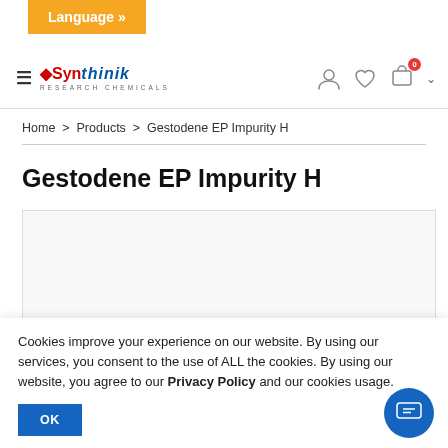Language »
[Figure (logo): Synthinik Research Chemicals logo with hamburger menu icon]
Home > Products > Gestodene EP Impurity H
Gestodene EP Impurity H
[Figure (illustration): Product chemical structure illustration (partially visible), showing partial molecular diagram at bottom right]
Cookies improve your experience on our website. By using our services, you consent to the use of ALL the cookies. By using our website, you agree to our Privacy Policy and our cookies usage.
OK